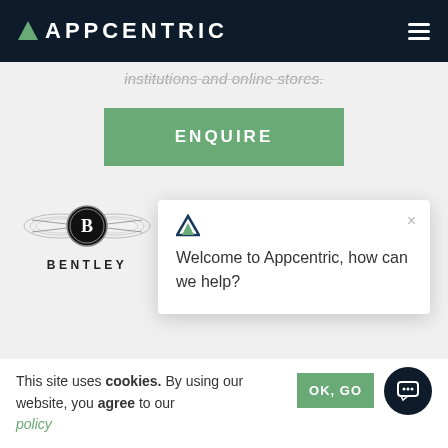APPCENTRIC
institutions and online stores.
ENQUIRE
[Figure (logo): Bentley winged B logo with BENTLEY text below]
[Figure (logo): Appcentric triangle logo]
[Figure (logo): Wing/angel logo in blue]
Welcome to Appcentric, how can we help?
This site uses cookies. By using our website, you agree to our policy